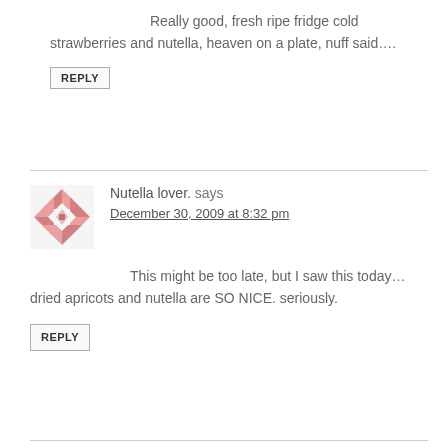Really good, fresh ripe fridge cold strawberries and nutella, heaven on a plate, nuff said….
REPLY
Nutella lover. says
December 30, 2009 at 8:32 pm
This might be too late, but I saw this today… dried apricots and nutella are SO NICE. seriously.
REPLY